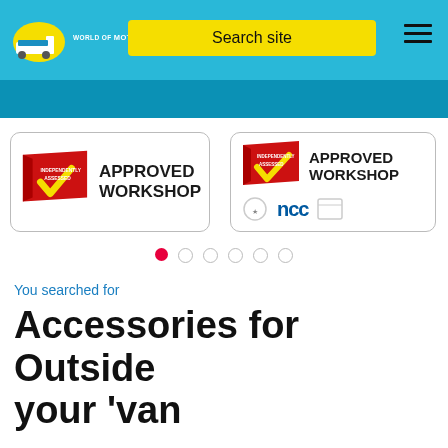[Figure (logo): World of Motorhomes, Caravans & Campervans logo with motorhome icon]
[Figure (screenshot): Yellow search box with text 'Search site']
[Figure (infographic): Hamburger menu icon (three horizontal lines)]
[Figure (infographic): First slide: Approved Workshop badge with red flag and yellow checkmark, text 'INDEPENDENTLY ASSESSED']
[Figure (infographic): Second slide: Approved Workshop badge with NCC logo and other accreditation logos]
You searched for
Accessories for Outside your 'van